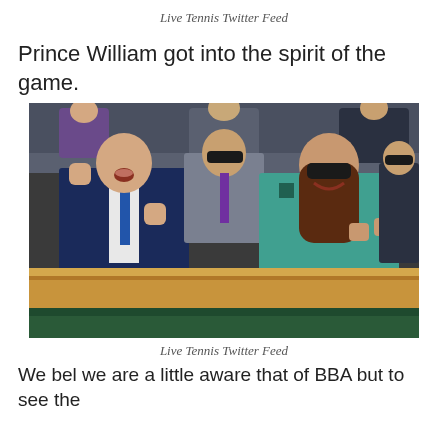Live Tennis Twitter Feed
Prince William got into the spirit of the game.
[Figure (photo): Prince William and Kate Middleton cheering enthusiastically at Wimbledon tennis match, both raising fists and clapping, seated in the royal box with people behind them]
Live Tennis Twitter Feed
We bel we are a little aware that of BBA but to see the